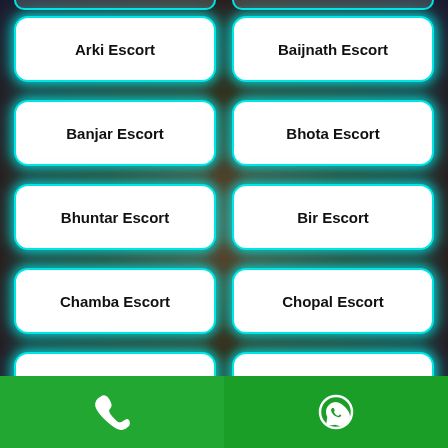Arki Escort
Baijnath Escort
Banjar Escort
Bhota Escort
Bhuntar Escort
Bir Escort
Chamba Escort
Chopal Escort
Chuari-khas Escort
Gagret Escort
Ghumarwin Escort
Hamirpur Escort
Jawalamukhi
Phone | WhatsApp